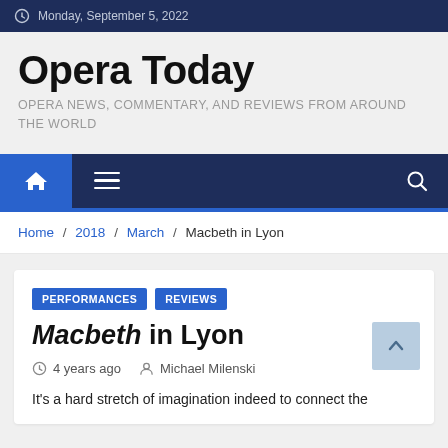Monday, September 5, 2022
Opera Today
OPERA NEWS, COMMENTARY, AND REVIEWS FROM AROUND THE WORLD
Home / 2018 / March / Macbeth in Lyon
PERFORMANCES  REVIEWS
Macbeth in Lyon
4 years ago   Michael Milenski
It's a hard stretch of imagination indeed to connect the